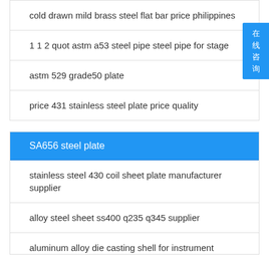cold drawn mild brass steel flat bar price philippines
1 1 2 quot astm a53 steel pipe steel pipe for stage
astm 529 grade50 plate
price 431 stainless steel plate price quality
SA656 steel plate
stainless steel 430 coil sheet plate manufacturer supplier
alloy steel sheet ss400 q235 q345 supplier
aluminum alloy die casting shell for instrument